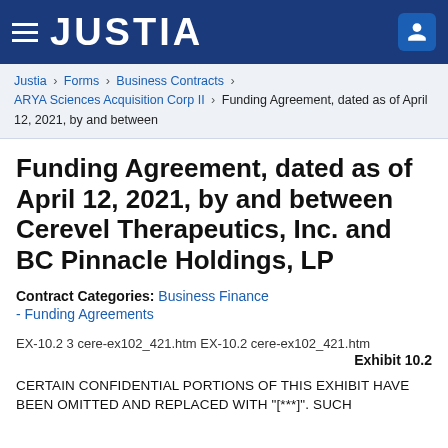JUSTIA
Justia › Forms › Business Contracts › ARYA Sciences Acquisition Corp II › Funding Agreement, dated as of April 12, 2021, by and between
Funding Agreement, dated as of April 12, 2021, by and between Cerevel Therapeutics, Inc. and BC Pinnacle Holdings, LP
Contract Categories: Business Finance - Funding Agreements
EX-10.2 3 cere-ex102_421.htm EX-10.2 cere-ex102_421.htm
Exhibit 10.2
CERTAIN CONFIDENTIAL PORTIONS OF THIS EXHIBIT HAVE BEEN OMITTED AND REPLACED WITH "[***]". SUCH